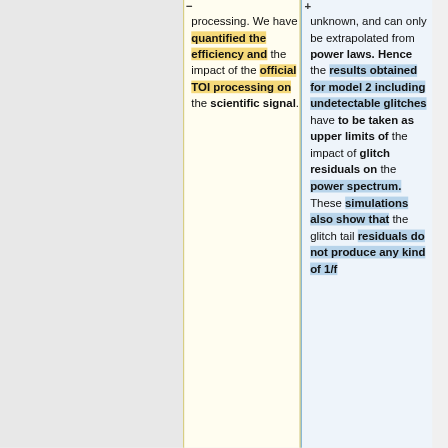processing. We have quantified the efficiency and the impact of the official TOI processing on the scientific signal.
unknown, and can only be extrapolated from power laws. Hence the results obtained for model 2 including undetectable glitches have to be taken as upper limits of the impact of glitch residuals on the power spectrum. These simulations also show that the glitch tail residuals do not produce any kind of 1/f